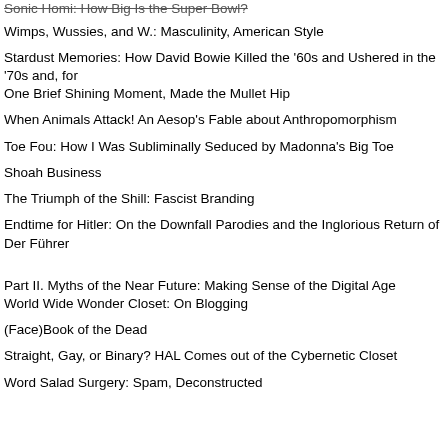Sonic Homi: How Big Is the Super Bowl?
Wimps, Wussies, and W.: Masculinity, American Style
Stardust Memories: How David Bowie Killed the '60s and Ushered in the '70s and, for One Brief Shining Moment, Made the Mullet Hip
When Animals Attack! An Aesop's Fable about Anthropomorphism
Toe Fou: How I Was Subliminally Seduced by Madonna's Big Toe
Shoah Business
The Triumph of the Shill: Fascist Branding
Endtime for Hitler: On the Downfall Parodies and the Inglorious Return of Der Führer
Part II. Myths of the Near Future: Making Sense of the Digital Age
World Wide Wonder Closet: On Blogging
(Face)Book of the Dead
Straight, Gay, or Binary? HAL Comes out of the Cybernetic Closet
Word Salad Surgery: Spam, Deconstructed